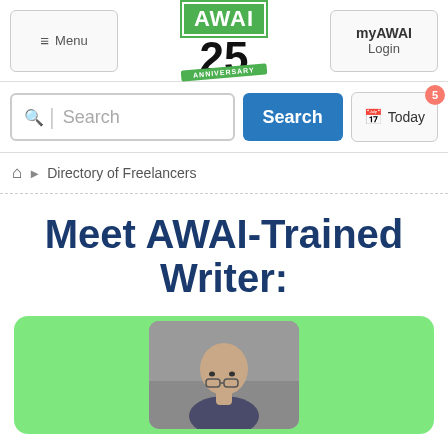≡ Menu | AWAI 25 ANNIVERSARY | myAWAI Login
Search | Search | Today 5
🏠 ▶ Directory of Freelancers
Meet AWAI-Trained Writer:
[Figure (photo): Profile photo of a bald man wearing glasses, shown in a green rounded card]